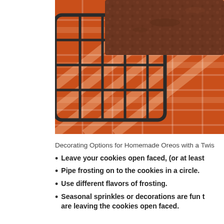[Figure (photo): Close-up photo of chocolate brownies or cookies on a dark wire cooling rack placed on an orange plaid fabric/textile surface.]
Decorating Options for Homemade Oreos with a Twis
Leave your cookies open faced, (or at least
Pipe frosting on to the cookies in a circle.
Use different flavors of frosting.
Seasonal sprinkles or decorations are fun t are leaving the cookies open faced.